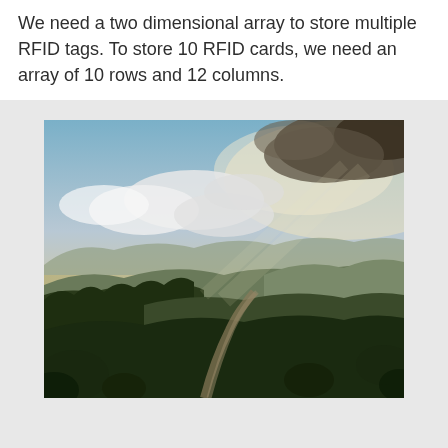We need a two dimensional array to store multiple RFID tags. To store 10 RFID cards, we need an array of 10 rows and 12 columns.
[Figure (photo): Landscape photograph showing rolling hills with vegetation, a dirt road winding through the terrain, and a dramatic cloudy sky with sunlight breaking through. The scene depicts a rural countryside with mountains in the background.]